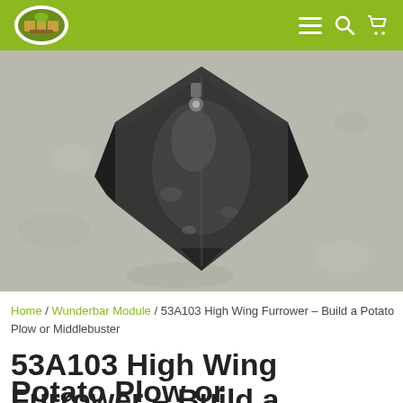Homestead Farming [logo] ≡ 🔍 🛒
[Figure (photo): Top-down photo of a black metal high wing furrower / middlebuster plow attachment placed on a concrete surface. The metal piece is shield-shaped with two raised wings on the sides and a pointed tip at the bottom. Two bolt holes are visible near the top center.]
Home / Wunderbar Module / 53A103 High Wing Furrower – Build a Potato Plow or Middlebuster
53A103 High Wing Furrower – Build a Potato Plow or Middlebuster